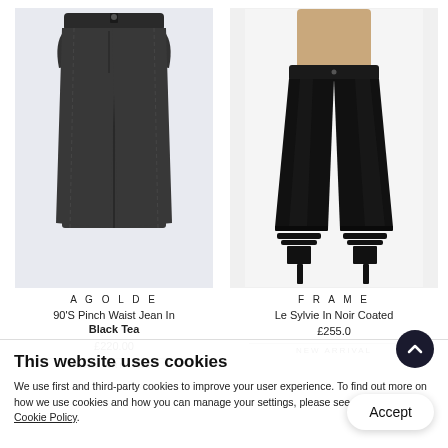[Figure (photo): Left product: AGOLDE 90's Pinch Waist Jean in Black Tea - dark/charcoal straight-leg jeans on light blue-grey background]
[Figure (photo): Right product: FRAME Le Sylvie In Noir Coated - black coated skinny jeans worn by model with tan top on white background]
AGOLDE
90'S Pinch Waist Jean In Black Tea
£220.00
NEW ARRIVAL
FRAME
Le Sylvie In Noir Coated
£255.0
NEW ARRIVAL
This website uses cookies
We use first and third-party cookies to improve your user experience. To find out more on how we use cookies and how you can manage your settings, please see our Privacy & Cookie Policy.